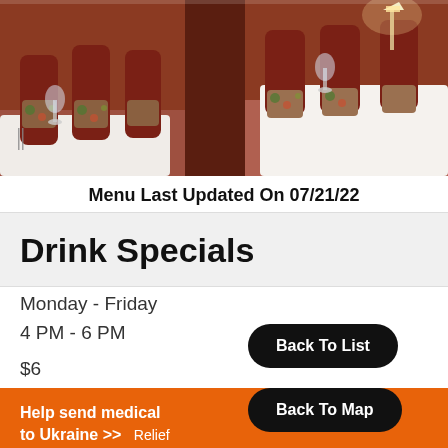[Figure (photo): Interior of a restaurant showing red wood chairs with floral fabric upholstery, white tablecloths, and warm lighting]
Menu Last Updated On 07/21/22
Drink Specials
Monday - Friday
4 PM - 6 PM
$6
Back To List
Back To Map
Help send medical to Ukraine >>  Relief